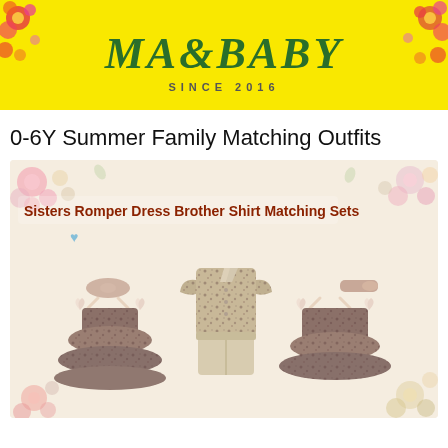[Figure (logo): MA&BABY logo on yellow background with floral decorations, text reads MA&BABY SINCE 2016]
0-6Y Summer Family Matching Outfits
[Figure (photo): Product promotional image showing Sisters Romper Dress Brother Shirt Matching Sets - three children outfits: two floral ruffle dresses with headbands for girls and one floral shirt with shorts set for boys, on cream floral background]